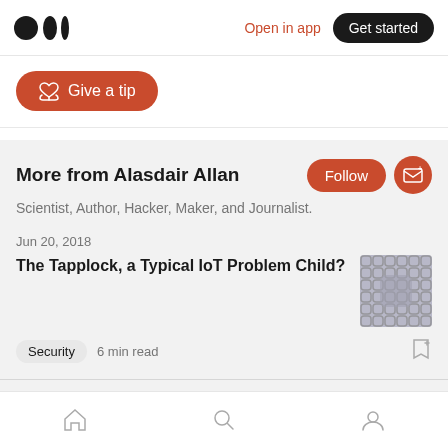Medium logo | Open in app | Get started
[Figure (illustration): Orange rounded button with hand/heart tip icon and text 'Give a tip']
More from Alasdair Allan
Scientist, Author, Hacker, Maker, and Journalist.
Jun 20, 2018
The Tapplock, a Typical IoT Problem Child?
Security  6 min read
Home | Search | Profile